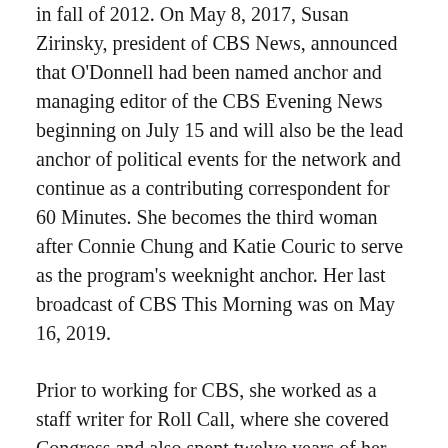in fall of 2012. On May 8, 2017, Susan Zirinsky, president of CBS News, announced that O'Donnell had been named anchor and managing editor of the CBS Evening News beginning on July 15 and will also be the lead anchor of political events for the network and continue as a contributing correspondent for 60 Minutes. She becomes the third woman after Connie Chung and Katie Couric to serve as the program's weeknight anchor. Her last broadcast of CBS This Morning was on May 16, 2019.
Prior to working for CBS, she worked as a staff writer for Roll Call, where she covered Congress and also spent twelve years of her career at the NBC networks as a commentator for the Today Show, Chief Washington Correspondent for MSNBC, and a White House correspondent . O'Donnell was also a contributing anchor for MSNBC Live and an anchor on Weekend Today and reported for various NBC News broadcasts, including